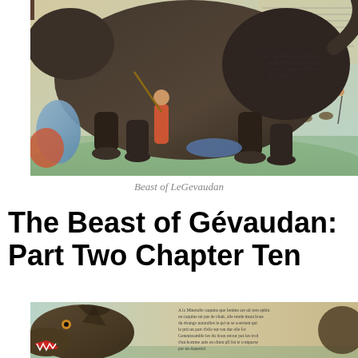[Figure (illustration): Historical engraving/color print of the Beast of Gévaudan attacking people, with hunters and animals in the background landscape.]
Beast of LeGevaudan
The Beast of Gévaudan: Part Two Chapter Ten
[Figure (illustration): Historical color print showing the head of the Beast of Gévaudan with French text inscription, depicting a wolf-like creature.]